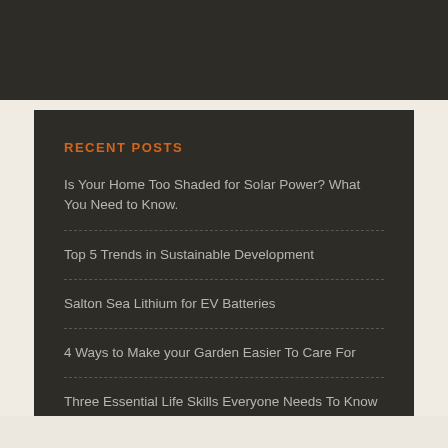RECENT POSTS
Is Your Home Too Shaded for Solar Power? What You Need to Know.
Top 5 Trends in Sustainable Development
Salton Sea Lithium for EV Batteries
4 Ways to Make your Garden Easier To Care For
Three Essential Life Skills Everyone Needs To Know